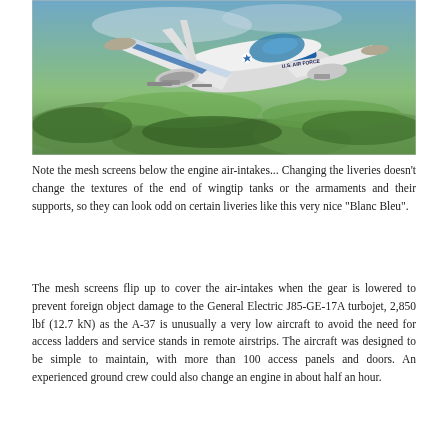[Figure (photo): A U.S. Air Force A-37 aircraft in a blue and white 'Blanc Bleu' livery flying over green terrain. The aircraft is viewed from above-rear angle, showing the wing, cockpit, wingtip tanks, and armaments. Text 'U.S. AIR FORCE' is visible on the fuselage.]
Note the mesh screens below the engine air-intakes... Changing the liveries doesn't change the textures of the end of wingtip tanks or the armaments and their supports, so they can look odd on certain liveries like this very nice "Blanc Bleu".
The mesh screens flip up to cover the air-intakes when the gear is lowered to prevent foreign object damage to the General Electric J85-GE-17A turbojet, 2,850 lbf (12.7 kN) as the A-37 is unusually a very low aircraft to avoid the need for access ladders and service stands in remote airstrips. The aircraft was designed to be simple to maintain, with more than 100 access panels and doors. An experienced ground crew could also change an engine in about half an hour.